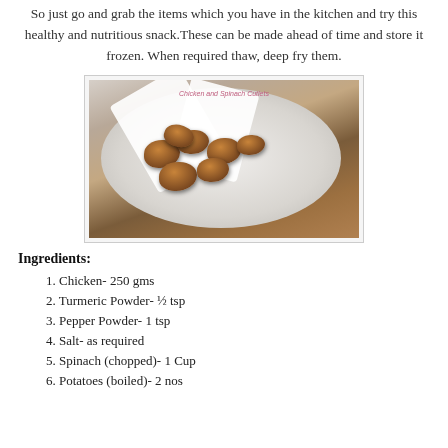So just go and grab the items which you have in the kitchen and try this healthy and nutritious snack.These can be made ahead of time and store it frozen. When required thaw, deep fry them.
[Figure (photo): Plate of chicken and spinach cutlets served on white paper in a white plate, with text overlay 'Chicken and Spinach Cutlets']
Ingredients:
1. Chicken- 250 gms
2. Turmeric Powder- ½ tsp
3. Pepper Powder- 1 tsp
4. Salt- as required
5. Spinach (chopped)- 1 Cup
6. Potatoes (boiled)- 2 nos